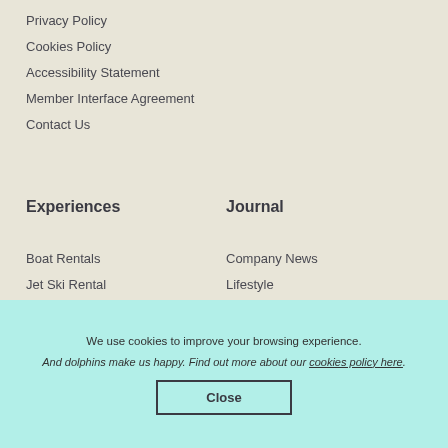Privacy Policy
Cookies Policy
Accessibility Statement
Member Interface Agreement
Contact Us
Experiences
Journal
Boat Rentals
Company News
Jet Ski Rental
Lifestyle
We use cookies to improve your browsing experience. And dolphins make us happy. Find out more about our cookies policy here.
Close